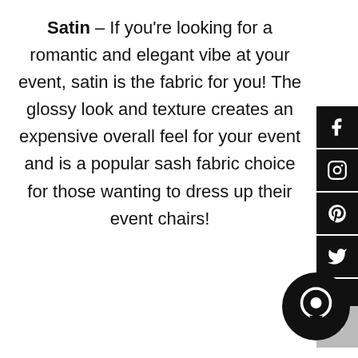Satin – If you're looking for a romantic and elegant vibe at your event, satin is the fabric for you! The glossy look and texture creates an expensive overall feel for your event and is a popular sash fabric choice for those wanting to dress up their event chairs!
[Figure (other): Social media share bar on the right side with Facebook, Instagram, Pinterest, Twitter, TikTok icons in black squares, plus a scroll-up button]
[Figure (other): Chat bubble icon in bottom right corner]